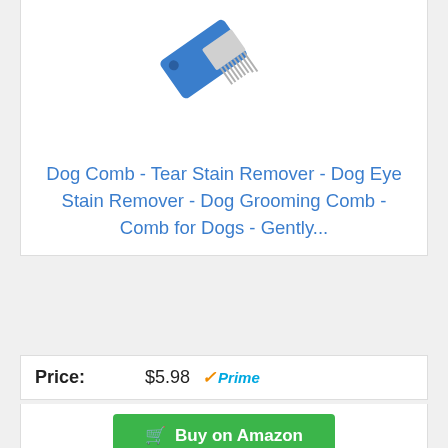[Figure (photo): Blue dog flea comb with metal teeth shown diagonally, partially cropped at top of page]
Dog Comb - Tear Stain Remover - Dog Eye Stain Remover - Dog Grooming Comb - Comb for Dogs - Gently...
Price: $5.98 √Prime
Buy on Amazon
Bestseller No. 4
[Figure (photo): Two blue dog grooming combs with metal teeth shown side by side]